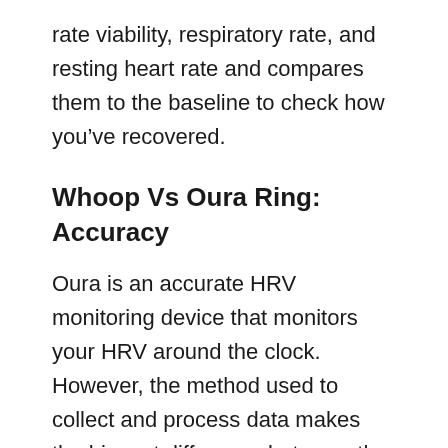rate viability, respiratory rate, and resting heart rate and compares them to the baseline to check how you've recovered.
Whoop Vs Oura Ring: Accuracy
Oura is an accurate HRV monitoring device that monitors your HRV around the clock. However, the method used to collect and process data makes the biggest difference between the Oura Ring and Whoop.